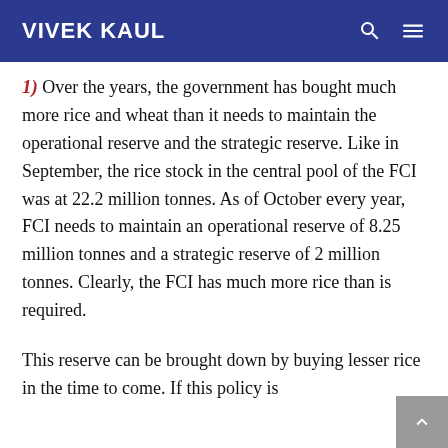VIVEK KAUL
1) Over the years, the government has bought much more rice and wheat than it needs to maintain the operational reserve and the strategic reserve. Like in September, the rice stock in the central pool of the FCI was at 22.2 million tonnes. As of October every year, FCI needs to maintain an operational reserve of 8.25 million tonnes and a strategic reserve of 2 million tonnes. Clearly, the FCI has much more rice than is required.
This reserve can be brought down by buying lesser rice in the time to come. If this policy is followed from the next year, the farmers will...